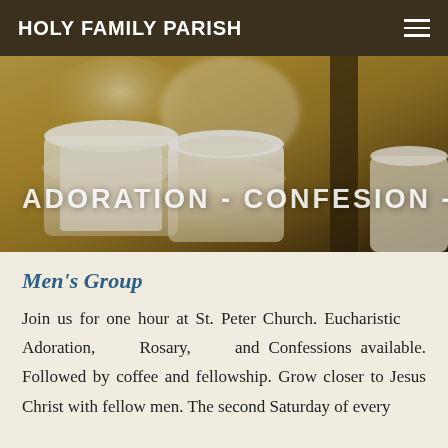HOLY FAMILY PARISH
[Figure (photo): Hero image showing lit candles in glass holders with golden/warm tones. Overlaid text reads: ADORATION - CONFESION - ROSARY]
Men's Group
Join us for one hour at St. Peter Church. Eucharistic Adoration, Rosary, and Confessions available. Followed by coffee and fellowship. Grow closer to Jesus Christ with fellow men. The second Saturday of every